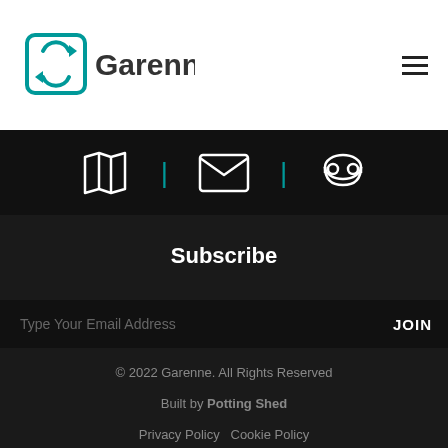[Figure (logo): Garenne company logo with teal circular arrow icon and dark gray text 'Garenne']
[Figure (other): Hamburger menu icon (three horizontal lines) in top right corner]
[Figure (other): Dark icon bar with map icon, teal vertical separator, email envelope icon, teal vertical separator, telephone icon]
Subscribe
Type Your Email Address
JOIN
© 2022 Garenne. All Rights Reserved
Built by Potting Shed
Privacy Policy   Cookie Policy